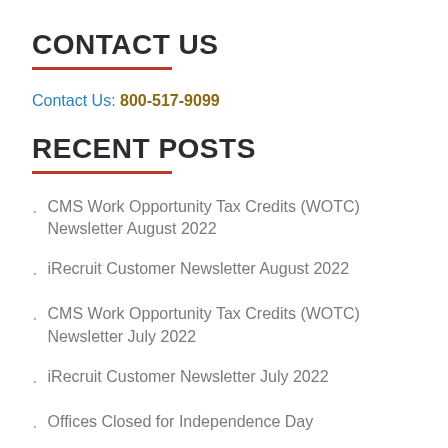CONTACT US
Contact Us: 800-517-9099
RECENT POSTS
CMS Work Opportunity Tax Credits (WOTC) Newsletter August 2022
iRecruit Customer Newsletter August 2022
CMS Work Opportunity Tax Credits (WOTC) Newsletter July 2022
iRecruit Customer Newsletter July 2022
Offices Closed for Independence Day